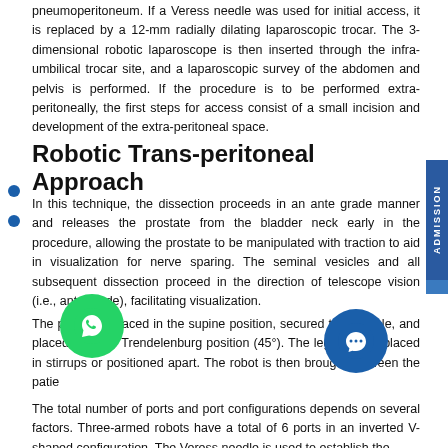pneumoperitoneum. If a Veress needle was used for initial access, it is replaced by a 12-mm radially dilating laparoscopic trocar. The 3-dimensional robotic laparoscope is then inserted through the infra-umbilical trocar site, and a laparoscopic survey of the abdomen and pelvis is performed. If the procedure is to be performed extra-peritoneally, the first steps for access consist of a small incision and development of the extra-peritoneal space.
Robotic Trans-peritoneal Approach
In this technique, the dissection proceeds in an ante grade manner and releases the prostate from the bladder neck early in the procedure, allowing the prostate to be manipulated with traction to aid in visualization for nerve sparing. The seminal vesicles and all subsequent dissection proceed in the direction of telescope vision (i.e., ante grade), facilitating visualization.
The patient is placed in the supine position, secured to the table, and placed in steep Trendelenburg position (45°). The legs can be placed in stirrups or positioned apart. The robot is then brought between the patie...
The total number of ports and port configurations depends on several factors. Three-armed robots have a total of 6 ports in an inverted V-shaped configuration. The Veress needle is used to establish the...